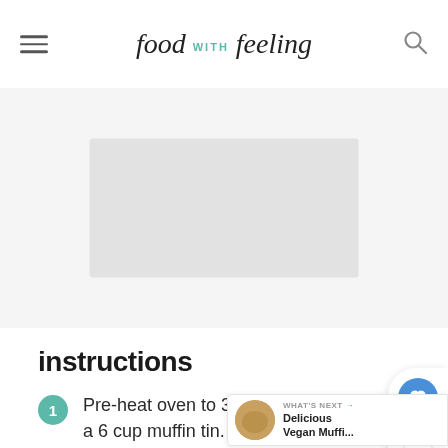food with feeling
[Figure (other): Advertisement placeholder image area, light gray rectangle]
instructions
1. Pre-heat oven to 350 degrees F. Grease a 6 cup muffin tin.
2. Sift together the flour, baking soda, baking powder, salt, and cinna…
3. Stir in the milk, nut butter, maple…